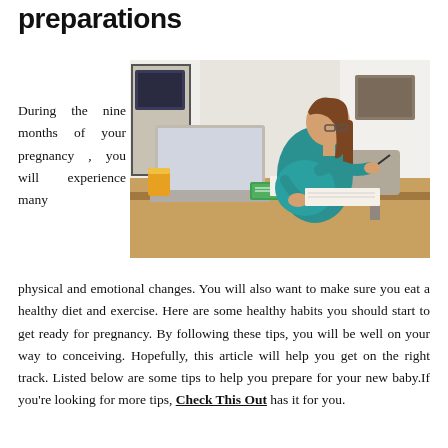preparations
[Figure (photo): Pregnant woman in teal dress sitting at a desk, writing notes on paper while a laptop is open in front of her. A glass of orange juice and a green notebook are on the table.]
During the nine months of your pregnancy , you will experience many physical and emotional changes. You will also want to make sure you eat a healthy diet and exercise. Here are some healthy habits you should start to get ready for pregnancy. By following these tips, you will be well on your way to conceiving. Hopefully, this article will help you get on the right track. Listed below are some tips to help you prepare for your new baby.If you're looking for more tips, Check This Out has it for you.